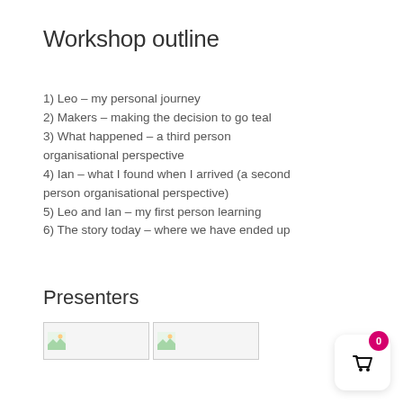Workshop outline
1) Leo – my personal journey
2) Makers – making the decision to go teal
3) What happened – a third person organisational perspective
4) Ian – what I found when I arrived (a second person organisational perspective)
5) Leo and Ian – my first person learning
6) The story today – where we have ended up
Presenters
[Figure (photo): Presenter photo placeholder 1]
[Figure (photo): Presenter photo placeholder 2]